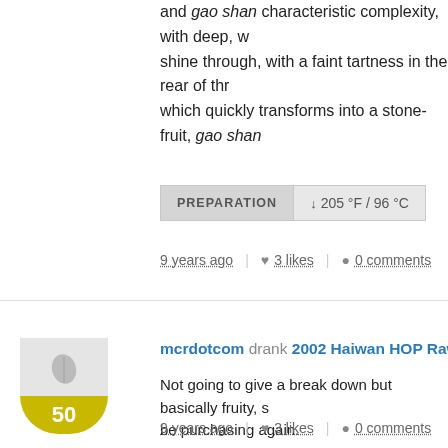and gao shan characteristic complexity, with deep, w... shine through, with a faint tartness in the rear of thro... which quickly transforms into a stone-fruit, gao shan...
PREPARATION  ↓ 205 °F / 96 °C
9 years ago | ♥ 3 likes | ● 0 comments
mcrdotcom drank 2002 Haiwan HOP Raw Pu-erh C...
Not going to give a break down but basically fruity, s... be purchasing again.
9 years ago | ♥ 3 likes | ● 0 comments
mcrdotcom drank Mid 90's CNNP Ba-Zhong Red M...